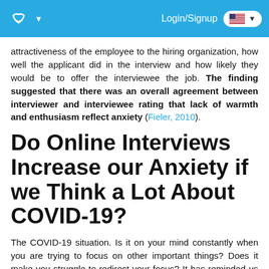Login/Signup
attractiveness of the employee to the hiring organization, how well the applicant did in the interview and how likely they would be to offer the interviewee the job. The finding suggested that there was an overall agreement between interviewer and interviewee rating that lack of warmth and enthusiasm reflect anxiety (Fieler, 2010).
Do Online Interviews Increase our Anxiety if we Think a Lot About COVID-19?
The COVID-19 situation. Is it on your mind constantly when you are trying to focus on other important things? Does it make you struggle to redirect your focus? It has reminded us of all of the hardships we are facing whether that be financially, socially and what this means